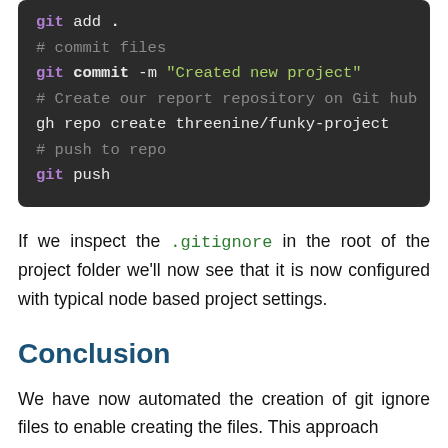[Figure (screenshot): Code block on dark background showing git commands: git add ., # commit files, git commit -m "Created new project", # Create our report repository on Git hub, gh repo create threenine/funky-project, # push to repo, git push]
If we inspect the .gitignore in the root of the project folder we'll now see that it is now configured with typical node based project settings.
Conclusion
We have now automated the creation of git ignore files to enable creating the files. This approach